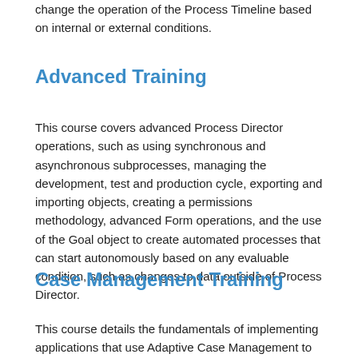change the operation of the Process Timeline based on internal or external conditions.
Advanced Training
This course covers advanced Process Director operations, such as using synchronous and asynchronous subprocesses, managing the development, test and production cycle, exporting and importing objects, creating a permissions methodology, advanced Form operations, and the use of the Goal object to create automated processes that can start autonomously based on any evaluable condition, such as changes to data outside of Process Director.
Case Management Training
This course details the fundamentals of implementing applications that use Adaptive Case Management to build